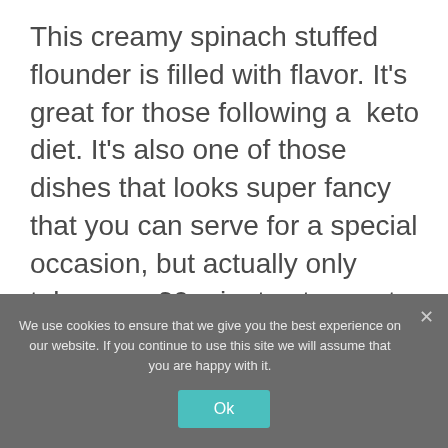This creamy spinach stuffed flounder is filled with flavor. It's great for those following a  keto diet. It's also one of those dishes that looks super fancy that you can serve for a special occasion, but actually only takes you 30 minutes to create.
We use cookies to ensure that we give you the best experience on our website. If you continue to use this site we will assume that you are happy with it.